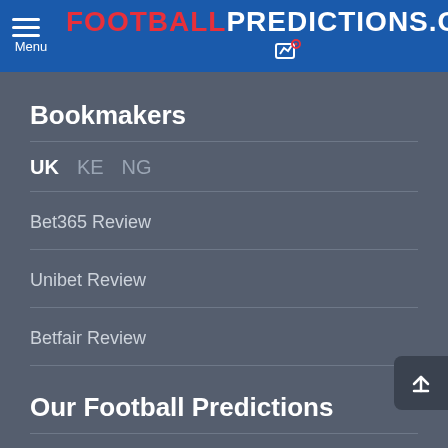FOOTBALL PREDICTIONS.COM
Bookmakers
UK  KE  NG
Bet365 Review
Unibet Review
Betfair Review
Our Football Predictions
Football Predictions
Premier League Predictions
Championship Predictions